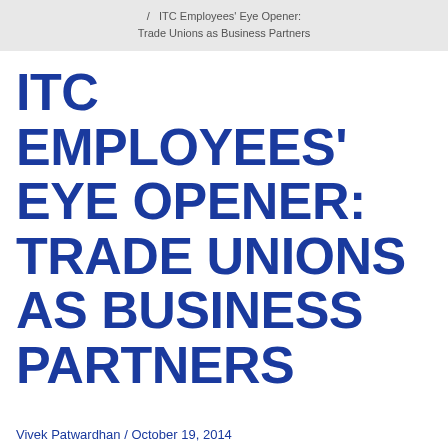/ ITC Employees' Eye Opener: Trade Unions as Business Partners
ITC EMPLOYEES' EYE OPENER: TRADE UNIONS AS BUSINESS PARTNERS
Vivek Patwardhan / October 19, 2014